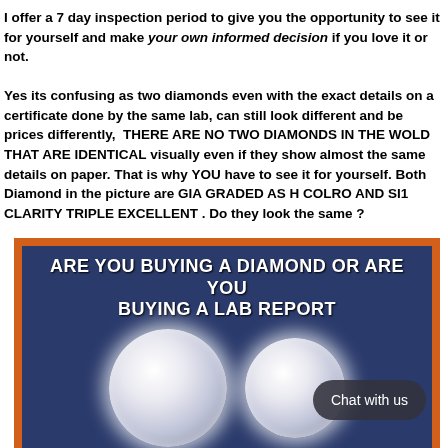I offer a 7 day inspection period to give you the opportunity to see it for yourself and make your own informed decision if you love it or not.

Yes its confusing as two diamonds even with the exact details on a certificate done by the same lab, can still look different and be prices differently, THERE ARE NO TWO DIAMONDS IN THE WOLD THAT ARE IDENTICAL visually even if they show almost the same details on paper. That is why YOU have to see it for yourself. Both Diamond in the picture are GIA GRADED AS H COLRO AND SI1 CLARITY TRIPLE EXCELLENT . Do they look the same ?
[Figure (photo): An advertisement image with orange border and dark blue background showing two round brilliant-cut diamonds side by side. The headline reads 'ARE YOU BUYING A DIAMOND OR ARE YOU BUYING A LAB REPORT' in bold white text. A chat bubble overlay says 'Chat with us'.]